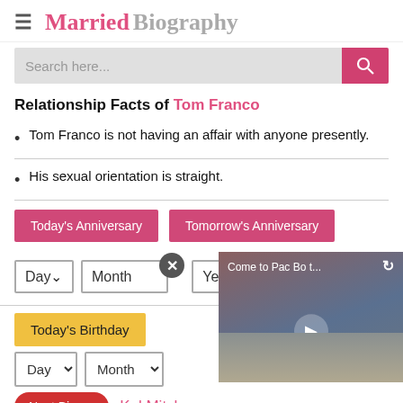Married Biography
Relationship Facts of Tom Franco
Tom Franco is not having an affair with anyone presently.
His sexual orientation is straight.
Today's Anniversary | Tomorrow's Anniversary
Day | Month | Year | Who married when?
Today's Birthday
Next Bio >> Kel Mitche...